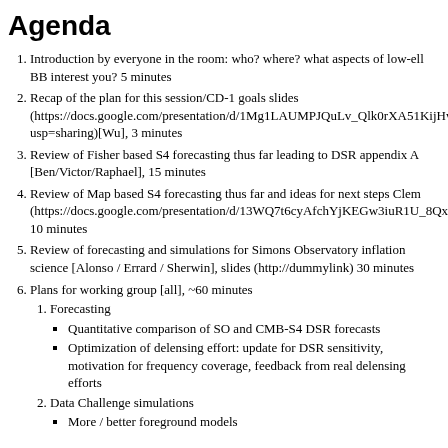Agenda
Introduction by everyone in the room: who? where? what aspects of low-ell BB interest you? 5 minutes
Recap of the plan for this session/CD-1 goals slides (https://docs.google.com/presentation/d/1Mg1LAUMPJQuLv_Qlk0rXA51KijHwe9BYMAZaLfziE4Y/edit?usp=sharing)[Wu], 3 minutes
Review of Fisher based S4 forecasting thus far leading to DSR appendix A [Ben/Victor/Raphael], 15 minutes
Review of Map based S4 forecasting thus far and ideas for next steps Clem (https://docs.google.com/presentation/d/13WQ7t6cyAfchYjKEGw3iuR1U_8QxEC7pJAHmNUmqjXQ), 10 minutes
Review of forecasting and simulations for Simons Observatory inflation science [Alonso / Errard / Sherwin], slides (http://dummylink) 30 minutes
Plans for working group [all], ~60 minutes
Forecasting
Quantitative comparison of SO and CMB-S4 DSR forecasts
Optimization of delensing effort: update for DSR sensitivity, motivation for frequency coverage, feedback from real delensing efforts
Data Challenge simulations
More / better foreground models